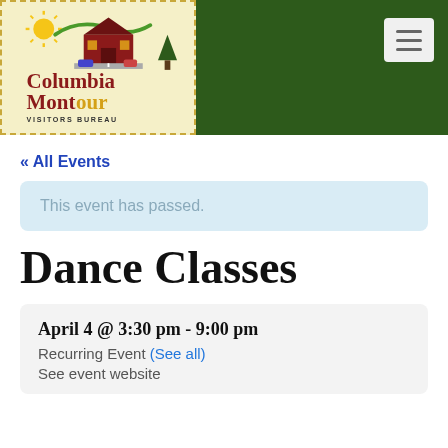[Figure (logo): Columbia Montour Visitors Bureau logo with illustrated covered bridge and sun graphic on cream background with dashed border]
« All Events
This event has passed.
Dance Classes
April 4 @ 3:30 pm - 9:00 pm
Recurring Event (See all)
See event website